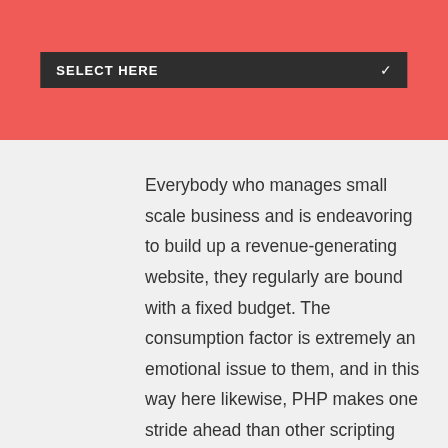[Figure (screenshot): A dark dropdown/select box with white text 'SELECT HERE' and a chevron arrow on a red/coral background header bar]
Everybody who manages small scale business and is endeavoring to build up a revenue-generating website, they regularly are bound with a fixed budget. The consumption factor is extremely an emotional issue to them, and in this way here likewise, PHP makes one stride ahead than other scripting languages. As PHP is an open source language, it doesn't require any expensive enrollment process. PHP can keep running in shoddy servers, and for putting away the information, it can utilize